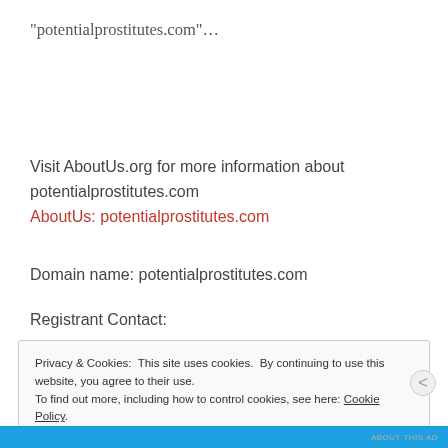“potentialprostitutes.com”…
Visit AboutUs.org for more information about potentialprostitutes.com
AboutUs: potentialprostitutes.com
Domain name: potentialprostitutes.com
Registrant Contact:
Privacy & Cookies: This site uses cookies. By continuing to use this website, you agree to their use.
To find out more, including how to control cookies, see here: Cookie Policy
Close and accept